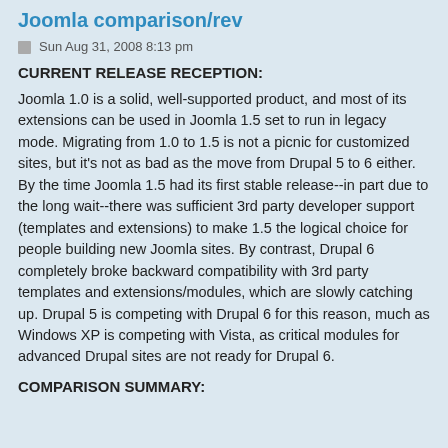Joomla comparison/rev
Sun Aug 31, 2008 8:13 pm
CURRENT RELEASE RECEPTION:
Joomla 1.0 is a solid, well-supported product, and most of its extensions can be used in Joomla 1.5 set to run in legacy mode. Migrating from 1.0 to 1.5 is not a picnic for customized sites, but it's not as bad as the move from Drupal 5 to 6 either. By the time Joomla 1.5 had its first stable release--in part due to the long wait--there was sufficient 3rd party developer support (templates and extensions) to make 1.5 the logical choice for people building new Joomla sites. By contrast, Drupal 6 completely broke backward compatibility with 3rd party templates and extensions/modules, which are slowly catching up. Drupal 5 is competing with Drupal 6 for this reason, much as Windows XP is competing with Vista, as critical modules for advanced Drupal sites are not ready for Drupal 6.
COMPARISON SUMMARY: